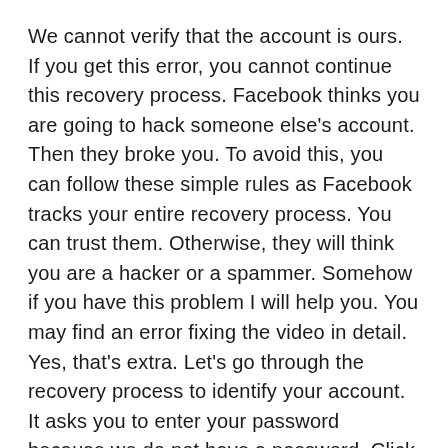We cannot verify that the account is ours. If you get this error, you cannot continue this recovery process. Facebook thinks you are going to hack someone else's account. Then they broke you. To avoid this, you can follow these simple rules as Facebook tracks your entire recovery process. You can trust them. Otherwise, they will think you are a hacker or a spammer. Somehow if you have this problem I will help you. You may find an error fixing the video in detail. Yes, that's extra. Let's go through the recovery process to identify your account. It asks you to enter your password because we do not have a password. Click here to try another method.
If they think this account is yours, you can see your email or phone number without the asterisks. So I hid that the click is no longer accessible to the click on the next page. I can't access my email account. Yes, we go. The page we need